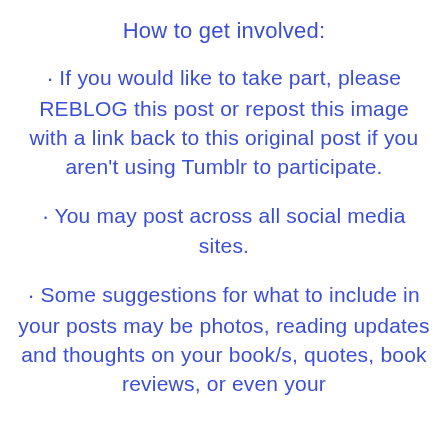How to get involved:
If you would like to take part, please REBLOG this post or repost this image with a link back to this original post if you aren't using Tumblr to participate.
You may post across all social media sites.
Some suggestions for what to include in your posts may be photos, reading updates and thoughts on your book/s, quotes, book reviews, or even your